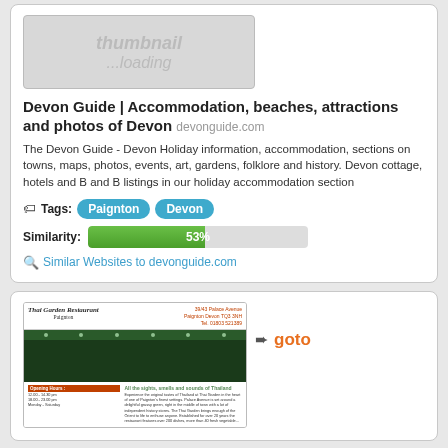[Figure (screenshot): Thumbnail loading placeholder (grey box with 'thumbnail ...loading' text)]
Devon Guide | Accommodation, beaches, attractions and photos of Devon devonguide.com
The Devon Guide - Devon Holiday information, accommodation, sections on towns, maps, photos, events, art, gardens, folklore and history. Devon cottage, hotels and B and B listings in our holiday accommodation section
Tags: Paignton Devon
Similarity: 53%
Similar Websites to devonguide.com
[Figure (screenshot): Thumbnail of Thai Garden Restaurant website showing header with restaurant name, green navigation bar, dark green body area, and footer with opening hours and description text]
goto